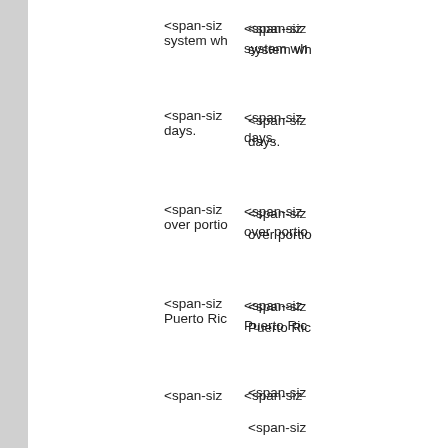<span-size system wh
<span-size days.
<span-size over portio
<span-size Puerto Ric
<span-size
<span-size
<span-size
<span-size
<span-size
<span-size
<span-fam
<span-size
Day H family:"Ce
/Lo family:"Ce